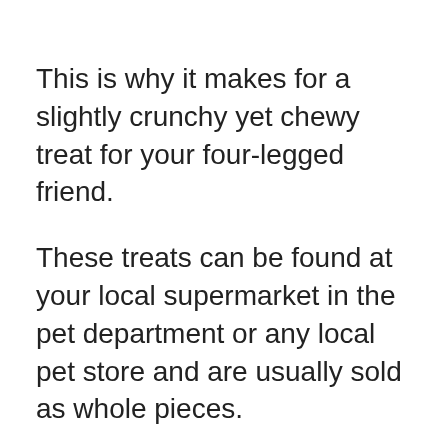This is why it makes for a slightly crunchy yet chewy treat for your four-legged friend.
These treats can be found at your local supermarket in the pet department or any local pet store and are usually sold as whole pieces.
These are popular chews because they are easy to find and relatively inexpensive. We recommend checking to see if they were made in the USA and then checking the ingredients label for any unnecessary ingredients like